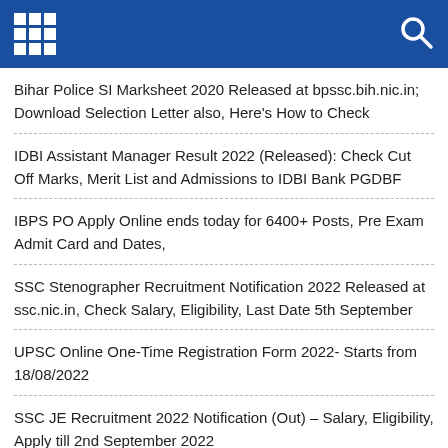Bihar Police SI Marksheet 2020 Released at bpssc.bih.nic.in; Download Selection Letter also, Here's How to Check
IDBI Assistant Manager Result 2022 (Released): Check Cut Off Marks, Merit List and Admissions to IDBI Bank PGDBF
IBPS PO Apply Online ends today for 6400+ Posts, Pre Exam Admit Card and Dates,
SSC Stenographer Recruitment Notification 2022 Released at ssc.nic.in, Check Salary, Eligibility, Last Date 5th September
UPSC Online One-Time Registration Form 2022- Starts from 18/08/2022
SSC JE Recruitment 2022 Notification (Out) – Salary, Eligibility, Apply till 2nd September 2022